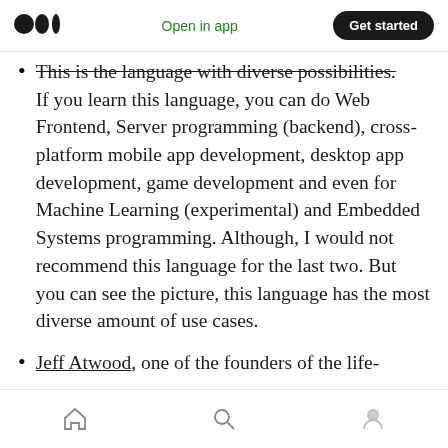Medium logo | Open in app | Get started
This is the language with diverse possibilities. If you learn this language, you can do Web Frontend, Server programming (backend), cross-platform mobile app development, desktop app development, game development and even for Machine Learning (experimental) and Embedded Systems programming. Although, I would not recommend this language for the last two. But you can see the picture, this language has the most diverse amount of use cases.
Jeff Atwood, one of the founders of the life-
Home | Search | Profile